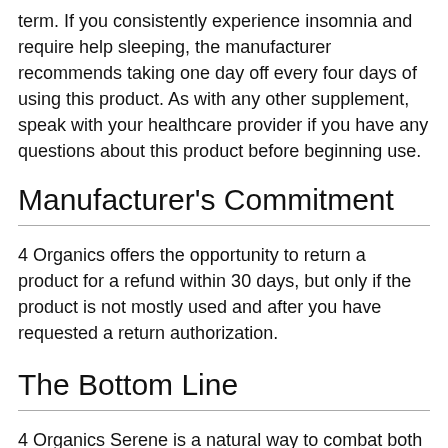term. If you consistently experience insomnia and require help sleeping, the manufacturer recommends taking one day off every four days of using this product. As with any other supplement, speak with your healthcare provider if you have any questions about this product before beginning use.
Manufacturer's Commitment
4 Organics offers the opportunity to return a product for a refund within 30 days, but only if the product is not mostly used and after you have requested a return authorization.
The Bottom Line
4 Organics Serene is a natural way to combat both sleep issues, as well as promote muscle relaxation. The ingredients used in this product are highly concentrated extracts of powerful organic relaxants and soporifics, ideal for calming